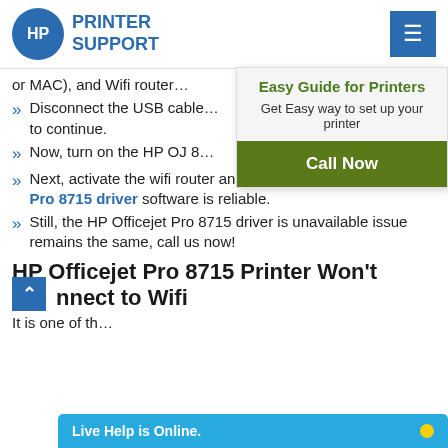HP PRINTER SUPPORT
or MAC), and Wifi router…
Disconnect the USB cable… to continue.
Now, turn on the HP OJ 8…
Next, activate the wifi router and check if the HP Officejet Pro 8715 driver software is reliable.
Still, the HP Officejet Pro 8715 driver is unavailable issue remains the same, call us now!
[Figure (infographic): Popup box titled 'Easy Guide for Printers' with subtitle 'Get Easy way to set up your printer' and a dark green 'Call Now' button.]
HP Officejet Pro 8715 Printer Won't nnect to Wifi
It is one of th…
Live Help is Online.